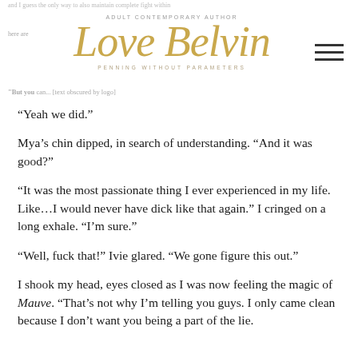Love Belvin — ADULT CONTEMPORARY AUTHOR — PENNING WITHOUT PARAMETERS
“Yeah we did.”
Mya’s chin dipped, in search of understanding. “And it was good?”
“It was the most passionate thing I ever experienced in my life. Like…I would never have dick like that again.” I cringed on a long exhale. “I’m sure.”
“Well, fuck that!” Ivie glared. “We gone figure this out.”
I shook my head, eyes closed as I was now feeling the magic of Mauve. “That’s not why I’m telling you guys. I only came clean because I don’t want you being a part of the lie.